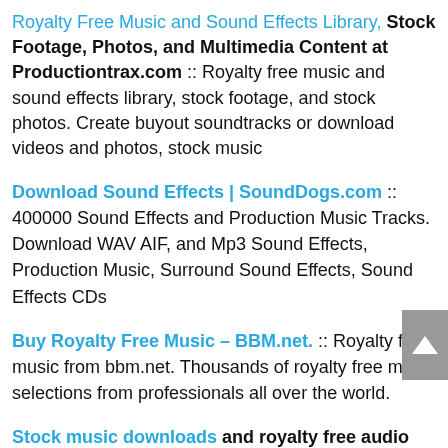Royalty Free Music and Sound Effects Library, Stock Footage, Photos, and Multimedia Content at Productiontrax.com :: Royalty free music and sound effects library, stock footage, and stock photos. Create buyout soundtracks or download videos and photos, stock music
Download Sound Effects | SoundDogs.com :: 400000 Sound Effects and Production Music Tracks. Download WAV AIF, and Mp3 Sound Effects, Production Music, Surround Sound Effects, Sound Effects CDs
Buy Royalty Free Music – BBM.net. :: Royalty free music from bbm.net. Thousands of royalty free music selections from professionals all over the world.
Stock music downloads and royalty free audio